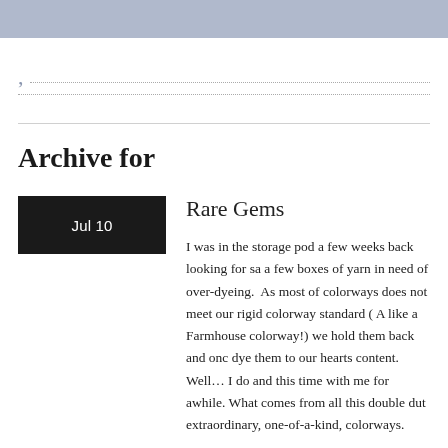Archive for
Rare Gems
I was in the storage pod a few weeks back looking for sa a few boxes of yarn in need of over-dyeing. As most of colorways does not meet our rigid colorway standard ( A like a Farmhouse colorway!) we hold them back and onc dye them to our hearts content. Well… I do and this time with me for awhile. What comes from all this double dut extraordinary, one-of-a-kind, colorways.